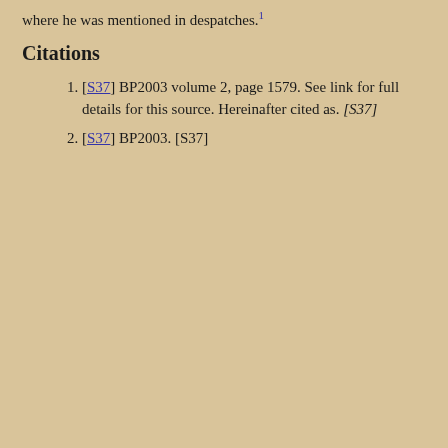where he was mentioned in despatches.¹
Citations
[S37] BP2003 volume 2, page 1579. See link for full details for this source. Hereinafter cited as. [S37]
[S37] BP2003. [S37]